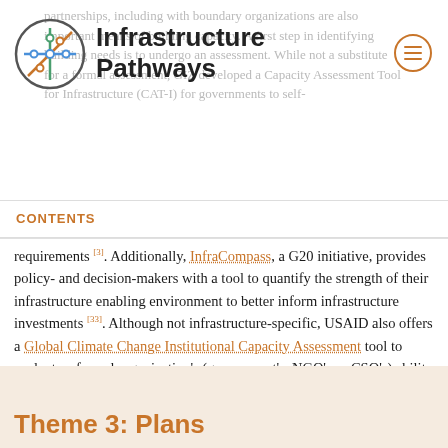Infrastructure Pathways
CONTENTS
requirements [3]. Additionally, InfraCompass, a G20 initiative, provides policy- and decision-makers with a tool to quantify the strength of their infrastructure enabling environment to better inform infrastructure investments [33]. Although not infrastructure-specific, USAID also offers a Global Climate Change Institutional Capacity Assessment tool to evaluate a formal organization's (government's, NGO's or CSO's) ability to undertake climate adaptation and mitigation efforts [34]
Theme 3: Plans